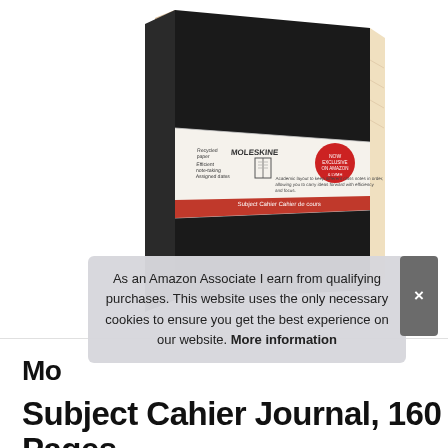[Figure (photo): Moleskine Subject Cahier Journal notebook product photo showing a black hardcover notebook with white label band and red accent stripe, displayed at an angle on a white background]
As an Amazon Associate I earn from qualifying purchases. This website uses the only necessary cookies to ensure you get the best experience on our website. More information
Mo
Subject Cahier Journal, 160 Pages,